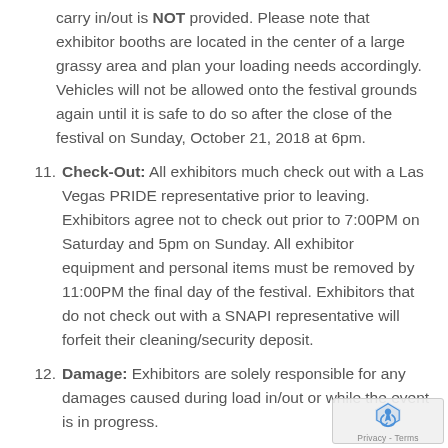carry in/out is NOT provided. Please note that exhibitor booths are located in the center of a large grassy area and plan your loading needs accordingly. Vehicles will not be allowed onto the festival grounds again until it is safe to do so after the close of the festival on Sunday, October 21, 2018 at 6pm.
11. Check-Out: All exhibitors much check out with a Las Vegas PRIDE representative prior to leaving. Exhibitors agree not to check out prior to 7:00PM on Saturday and 5pm on Sunday. All exhibitor equipment and personal items must be removed by 11:00PM the final day of the festival. Exhibitors that do not check out with a SNAPI representative will forfeit their cleaning/security deposit.
12. Damage: Exhibitors are solely responsible for any damages caused during load in/out or while the event is in progress.